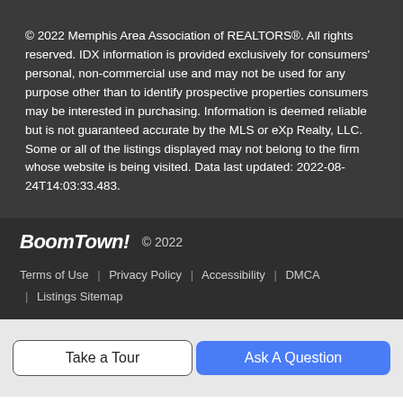© 2022 Memphis Area Association of REALTORS®. All rights reserved. IDX information is provided exclusively for consumers' personal, non-commercial use and may not be used for any purpose other than to identify prospective properties consumers may be interested in purchasing. Information is deemed reliable but is not guaranteed accurate by the MLS or eXp Realty, LLC. Some or all of the listings displayed may not belong to the firm whose website is being visited. Data last updated: 2022-08-24T14:03:33.483.
BoomTown! © 2022
Terms of Use | Privacy Policy | Accessibility | DMCA | Listings Sitemap
Take a Tour
Ask A Question